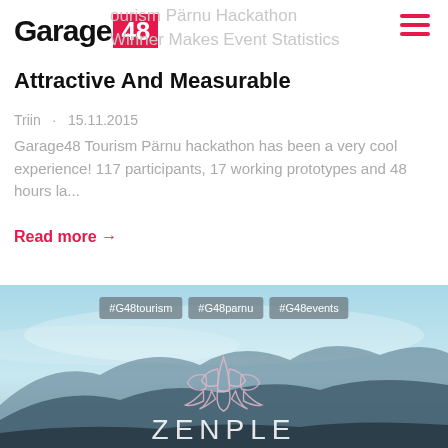Garage 48 | Tourism Pärnu Hackathon Winner Makes Event Statistics Attractive And Measurable
Attractive And Measurable
Triin · 15.11.2015
Garage48 Tourism Pärnu hackathon has been a very cool experience! 117 participants, 17 working prototypes and 48 hours la...
Read more →
[Figure (photo): Banner image with sky/mountain background featuring hashtags #G48tourism #G48parnu #G48events, a lotus flower logo, and the word ZENPLE]